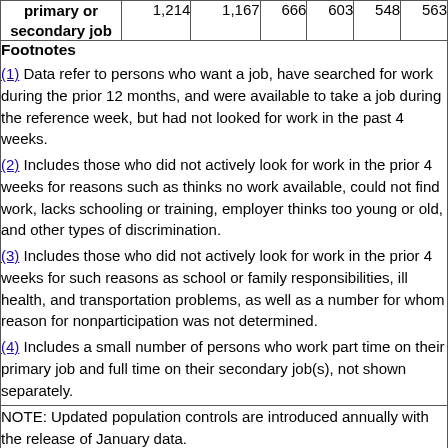| primary or secondary job |  |  |  |  |  |
| --- | --- | --- | --- | --- | --- |
|  | 1,214 | 1,167 | 666 | 603 | 548 | 563 |
Footnotes
(1) Data refer to persons who want a job, have searched for work during the prior 12 months, and were available to take a job during the reference week, but had not looked for work in the past 4 weeks.
(2) Includes those who did not actively look for work in the prior 4 weeks for reasons such as thinks no work available, could not find work, lacks schooling or training, employer thinks too young or old, and other types of discrimination.
(3) Includes those who did not actively look for work in the prior 4 weeks for such reasons as school or family responsibilities, ill health, and transportation problems, as well as a number for whom reason for nonparticipation was not determined.
(4) Includes a small number of persons who work part time on their primary job and full time on their secondary job(s), not shown separately.
NOTE: Updated population controls are introduced annually with the release of January data.